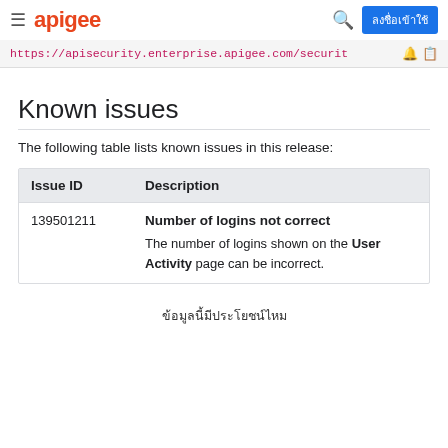apigee | ลงชื่อเข้าใช้
https://apisecurity.enterprise.apigee.com/securit
Known issues
The following table lists known issues in this release:
| Issue ID | Description |
| --- | --- |
| 139501211 | Number of logins not correct
The number of logins shown on the User Activity page can be incorrect. |
ข้อมูลนี้มีประโยชน์ไหม